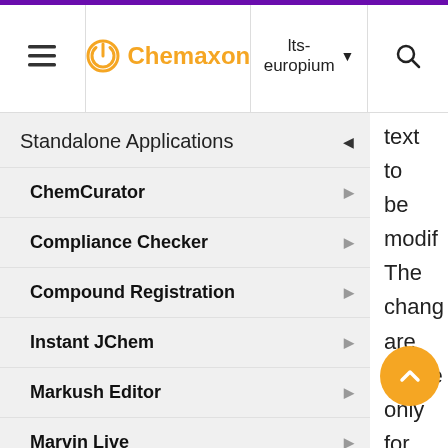Chemaxon | lts-europium
Standalone Applications
ChemCurator
Compliance Checker
Compound Registration
Instant JChem
Markush Editor
Marvin Live
MarvinSketch
Introduction to MarvinSketch
text to be modified The changes are applied only for the selected textbox and